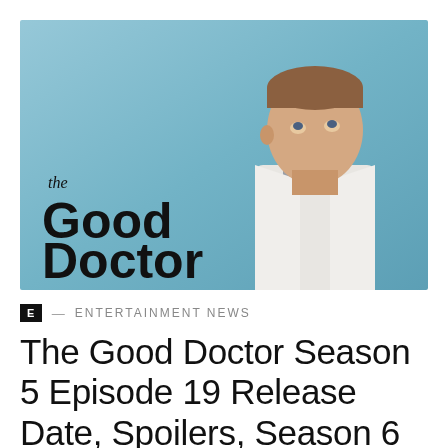[Figure (photo): Promotional image for 'The Good Doctor' TV show. A young man in a white doctor's coat looks upward against a teal/blue background. The show title 'the Good Doctor' is overlaid on the left side of the image.]
E — ENTERTAINMENT NEWS
The Good Doctor Season 5 Episode 19 Release Date, Spoilers, Season 6 Countdown